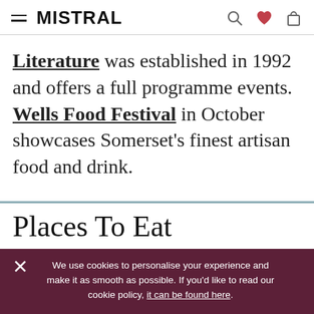MISTRAL
Literature was established in 1992 and offers a full programme events. Wells Food Festival in October showcases Somerset's finest artisan food and drink.
Places To Eat
We use cookies to personalise your experience and make it as smooth as possible. If you'd like to read our cookie policy, it can be found here.